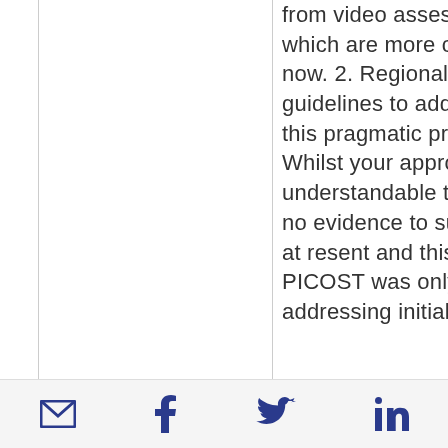from video assessments which are more common now. 2. Regional guidelines to address this pragmatic problem. Whilst your approach is understandable there is no evidence to support it at resent and this PICOST was only addressing initial
Email | Facebook | Twitter | LinkedIn